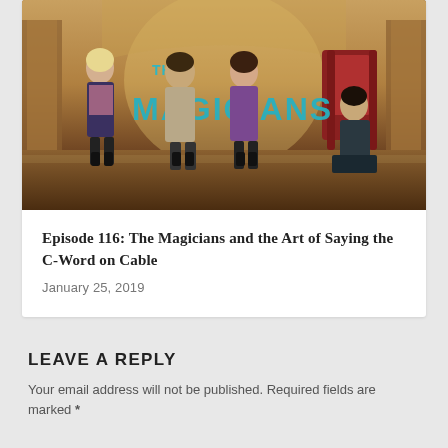[Figure (photo): Promotional image for 'The Magicians' TV show showing four characters posed in a grand hall with 'THE MAGICIANS' title text in teal/blue lettering.]
Episode 116: The Magicians and the Art of Saying the C-Word on Cable
January 25, 2019
LEAVE A REPLY
Your email address will not be published. Required fields are marked *